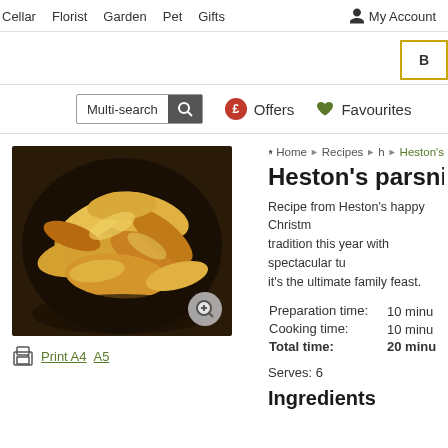Cellar  Florist  Garden  Pet  Gifts  My Account
[Figure (screenshot): Website search bar with Multi-search input, magnifying glass button, Offers link with pound icon, and Favourites link with heart icon]
[Figure (photo): Bowl of golden parsnip crisps/chips viewed from above]
Print A4  A5
Home ▶ Recipes ▶ h ▶ Heston's
Heston's parsnip
Recipe from Heston's happy Christmas tradition this year with spectacular tu it's the ultimate family feast.
| Preparation time: | 10 minu |
| Cooking time: | 10 minu |
| Total time: | 20 minu |
Serves: 6
Ingredients